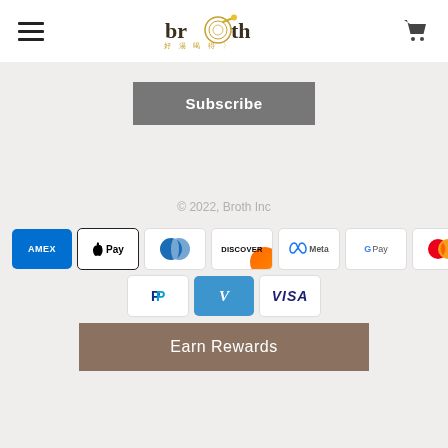[Figure (logo): Broth Inc logo with stylized bowl graphic and Chinese characters]
Subscribe
© 2022, Broth Inc
[Figure (infographic): Payment method icons: Amex, Apple Pay, Diners Club, Discover, Meta Pay, Google Pay, Mastercard, PayPal, Venmo, Visa]
Earn Rewards